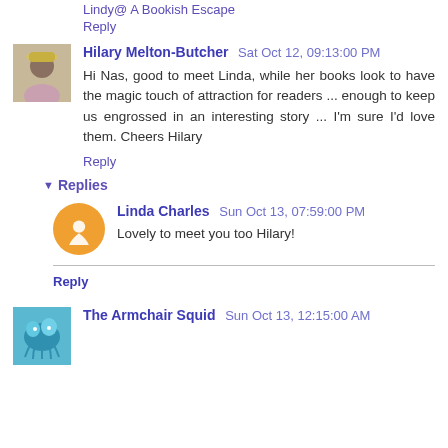Lindy@ A Bookish Escape
Reply
Hilary Melton-Butcher  Sat Oct 12, 09:13:00 PM
Hi Nas, good to meet Linda, while her books look to have the magic touch of attraction for readers ... enough to keep us engrossed in an interesting story ... I'm sure I'd love them. Cheers Hilary
Reply
Replies
Linda Charles  Sun Oct 13, 07:59:00 PM
Lovely to meet you too Hilary!
Reply
The Armchair Squid  Sun Oct 13, 12:15:00 AM